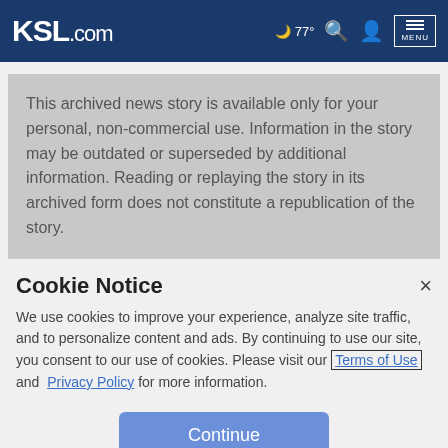KSL.com — 77° weather, search, account, menu
This archived news story is available only for your personal, non-commercial use. Information in the story may be outdated or superseded by additional information. Reading or replaying the story in its archived form does not constitute a republication of the story.
Cookie Notice
We use cookies to improve your experience, analyze site traffic, and to personalize content and ads. By continuing to use our site, you consent to our use of cookies. Please visit our Terms of Use and Privacy Policy for more information.
Continue